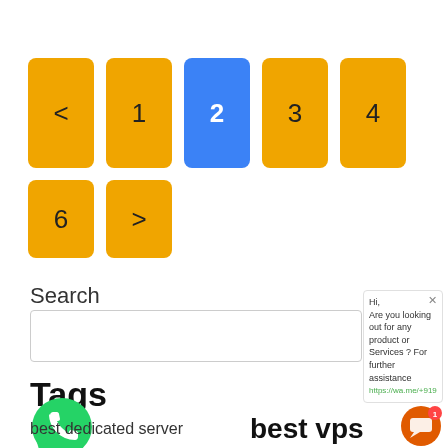[Figure (other): Pagination buttons: < 1 [2] 3 4 ... 6 > where 2 is highlighted in blue, rest in orange]
Search
[Figure (other): Search input box (empty)]
Tags
[Figure (logo): WhatsApp logo icon]
best dedicated server  best vps
[Figure (other): Chat popup widget: Hi, Are you looking out for any product or Services ? For further assistance https://wa.me/+919]
[Figure (other): Chat bubble icon with notification badge showing 1]